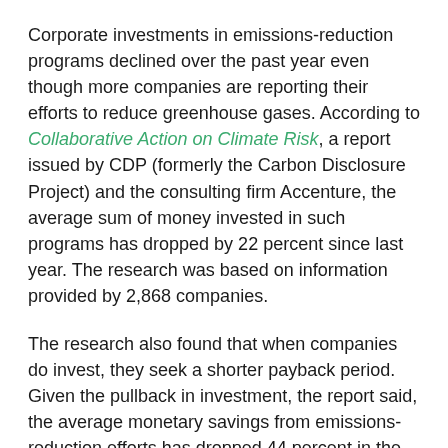Corporate investments in emissions-reduction programs declined over the past year even though more companies are reporting their efforts to reduce greenhouse gases. According to Collaborative Action on Climate Risk, a report issued by CDP (formerly the Carbon Disclosure Project) and the consulting firm Accenture, the average sum of money invested in such programs has dropped by 22 percent since last year. The research was based on information provided by 2,868 companies.
The research also found that when companies do invest, they seek a shorter payback period. Given the pullback in investment, the report said, the average monetary savings from emissions-reduction efforts has dropped 44 percent in the last 12 months.
Moreover, companies are becoming more cautious about investing in emission-reduction and supply chain sustainability programs because of regulatory uncertainty.